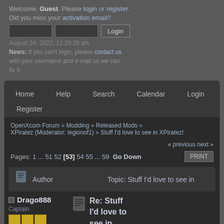Welcome, Guest. Please login or register. Did you miss your activation email?
August 24, 2022, 12:20:26 am
News: If you can't login, please contact us with your username and e-mail so we can fix it.
Home  Help  Search  Calendar  Login
Register
OpenXcom Forum » Modding » Released Mods » XPiratez (Moderator: legionof1) » Stuff I'd love to see in XPiratez!
« previous next »
Pages: 1 ... 51 52 [53] 54 55 ... 59  Go Down   PRINT
Author  Topic: Stuff I'd love to see in
Drago888  Captain  Posts: 54
Re: Stuff I'd love to see in XPiratez!  « Reply #780 on: October 04, 2021, 09:34:39 am »